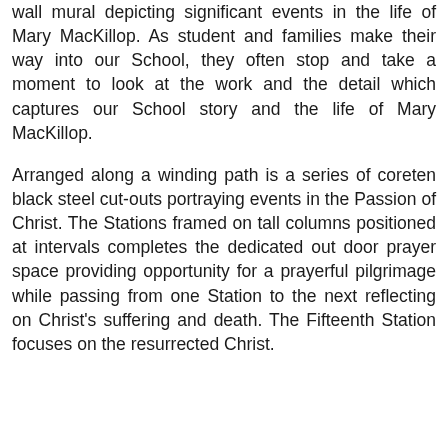wall mural depicting significant events in the life of Mary MacKillop. As student and families make their way into our School, they often stop and take a moment to look at the work and the detail which captures our School story and the life of Mary MacKillop.
Arranged along a winding path is a series of coreten black steel cut-outs portraying events in the Passion of Christ. The Stations framed on tall columns positioned at intervals completes the dedicated out door prayer space providing opportunity for a prayerful pilgrimage while passing from one Station to the next reflecting on Christ's suffering and death. The Fifteenth Station focuses on the resurrected Christ.